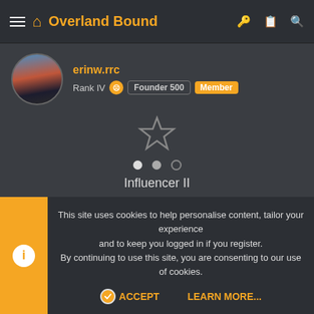Overland Bound
erinw.rrc
Rank IV  Founder 500  Member
[Figure (illustration): Star badge icon labeled Influencer II with three dots below indicating progress/level]
Influencer II
1,221  Santa Clara. CA  Member # 0043
Jan 12, 2017  #3
Bump. C'mon, someone has to need a brand new winch for a great
This site uses cookies to help personalise content, tailor your experience and to keep you logged in if you register.
By continuing to use this site, you are consenting to our use of cookies.
ACCEPT   LEARN MORE...